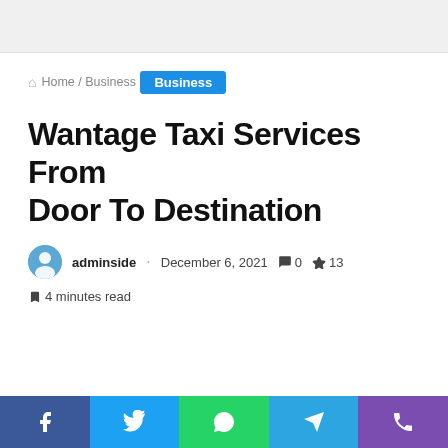Home / Business
Business
Wantage Taxi Services From Door To Destination
adminside · December 6, 2021 · 0 comments · 13 trending · 4 minutes read